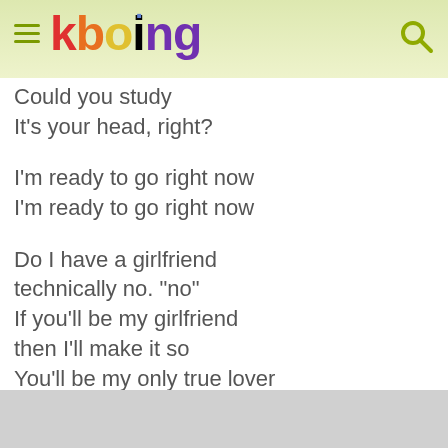kboing
Could you study
It's your head, right?

I'm ready to go right now
I'm ready to go right now

Do I have a girlfriend
technically no. "no"
If you'll be my girlfriend
then I'll make it so
You'll be my only true lover
No competition,